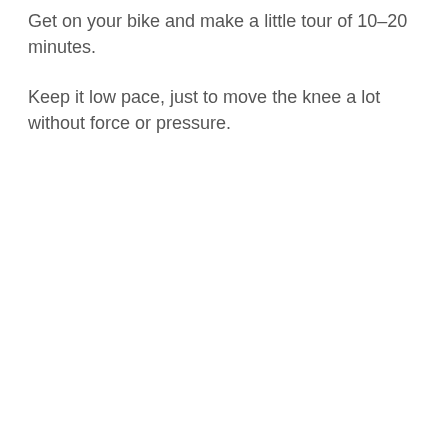Get on your bike and make a little tour of 10-20 minutes.
Keep it low pace, just to move the knee a lot without force or pressure.